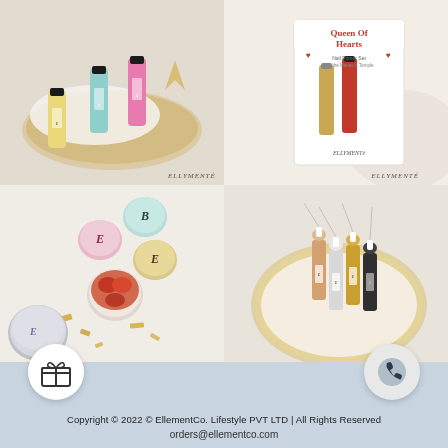[Figure (photo): Top-left: Three product bottles (yellow, teal/blue, pink) from ELLYMENTE brand arranged on a wicker tray with white fabric background. Brand watermark 'ELLYMENTÉ' at bottom right.]
[Figure (photo): Top-right: 'Queen of Hearts' nail primer set gift box packaging by ELLYMENTÉ, showing red and gold/glitter nail products against a cream background. Brand watermark 'ELLYMENTÉ' at bottom right.]
[Figure (photo): Bottom-left: Assorted nail art supply pots with decorative E logo lids in pink, mint, cream colors, plus open pots showing dried flowers, gold foil flakes, and silver glitter scattered on white background.]
[Figure (photo): Bottom-right: Multiple small dropper bottles with white caps, labeled with E logo, containing various glitter and pigment products (copper, silver, gold, black) arranged in a gold rimmed tray.]
[Figure (other): Gift box icon button (white circle with gift icon) overlaid at bottom-left corner]
[Figure (other): Phone/contact icon button (grey circle with phone icon) overlaid at bottom-right corner]
Copyright © 2022 © EllementCo. Lifestyle PVT LTD | All Rights Reserved
orders@ellementco.com